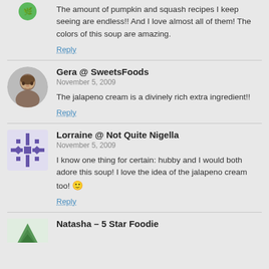The amount of pumpkin and squash recipes I keep seeing are endless!! And I love almost all of them! The colors of this soup are amazing.
Reply
Gera @ SweetsFoods
November 5, 2009
The jalapeno cream is a divinely rich extra ingredient!!
Reply
[Figure (photo): Round avatar photo of a man]
Lorraine @ Not Quite Nigella
November 5, 2009
I know one thing for certain: hubby and I would both adore this soup! I love the idea of the jalapeno cream too! 🙂
Reply
[Figure (logo): Purple snowflake/geometric avatar for Lorraine @ Not Quite Nigella]
Natasha – 5 Star Foodie
[Figure (logo): Green mountain/triangle logo for Natasha - 5 Star Foodie]